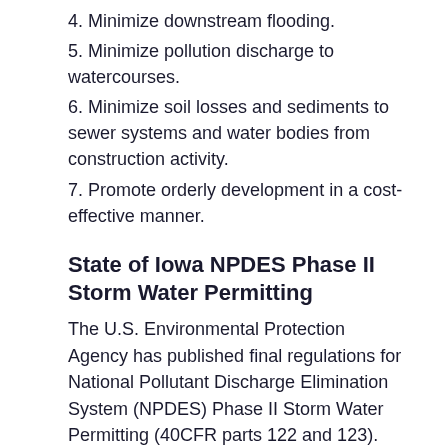4. Minimize downstream flooding.
5. Minimize pollution discharge to watercourses.
6. Minimize soil losses and sediments to sewer systems and water bodies from construction activity.
7. Promote orderly development in a cost-effective manner.
State of Iowa NPDES Phase II Storm Water Permitting
The U.S. Environmental Protection Agency has published final regulations for National Pollutant Discharge Elimination System (NPDES) Phase II Storm Water Permitting (40CFR parts 122 and 123). Included in the Federal Register is a listing of municipalities which will be required to comply with the regulations. The Iowa Department of Natural Resources (IDNR) has issued Draft Individual